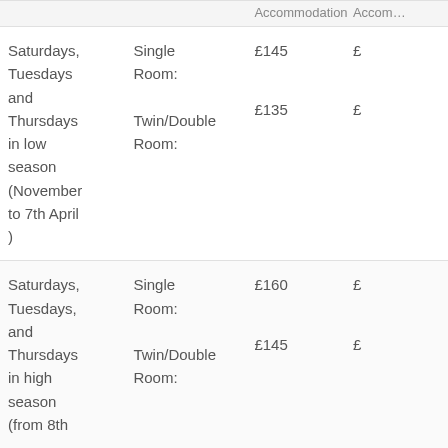|  |  | Accommodation | Accom… |
| --- | --- | --- | --- |
| Saturdays, Tuesdays and Thursdays in low season (November to 7th April) | Single Room:

Twin/Double Room: | £145

£135 | £…

£… |
| Saturdays, Tuesdays, and Thursdays in high season (from 8th… | Single Room:

Twin/Double Room: | £160

£145 | £…

£… |